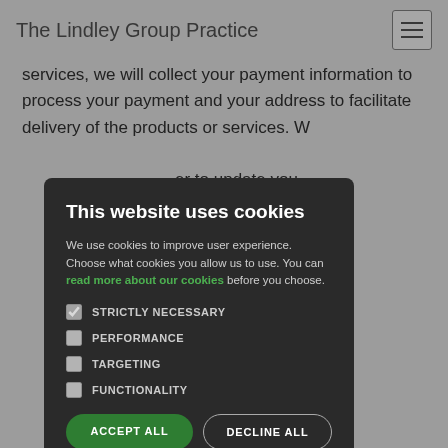The Lindley Group Practice
services, we will collect your payment information to process your payment and your address to facilitate delivery of the products or services. We will also collect [email] to update you [and] to answer any
liance with a ct to. For business obliged to carry ks to prevent ivities. This will of your
ing your e agreed to receive marketing communications;
the processing is necessary for the purposes of the
This website uses cookies
We use cookies to improve user experience. Choose what cookies you allow us to use. You can read more about our cookies before you choose.
STRICTLY NECESSARY
PERFORMANCE
TARGETING
FUNCTIONALITY
ACCEPT ALL
DECLINE ALL